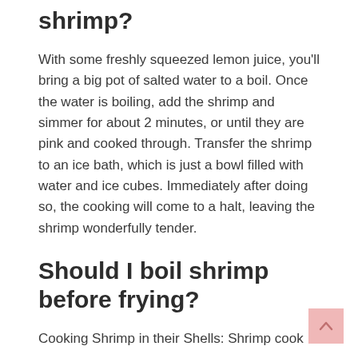shrimp?
With some freshly squeezed lemon juice, you'll bring a big pot of salted water to a boil. Once the water is boiling, add the shrimp and simmer for about 2 minutes, or until they are pink and cooked through. Transfer the shrimp to an ice bath, which is just a bowl filled with water and ice cubes. Immediately after doing so, the cooking will come to a halt, leaving the shrimp wonderfully tender.
Should I boil shrimp before frying?
Cooking Shrimp in their Shells: Shrimp cook